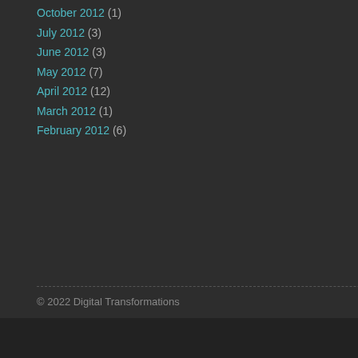October 2012 (1)
July 2012 (3)
June 2012 (3)
May 2012 (7)
April 2012 (12)
March 2012 (1)
February 2012 (6)
K8Nash: Hi David, thanks for this. I thinking of trying live tweet…
on Using Twitter in university learning
David Gauntlett: Before someone says it . . . the apparent support her…
on A tale of two books
David Gauntlett: [In reply to Rob] - we are selling too cheap. Put it to…
on A tale of two books
Rob McMinn: I put my PhD thesis on Kindle a while ago, and struggled …
on A tale of two books
© 2022 Digital Transformations